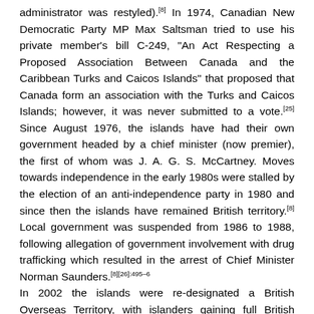administrator was restyled).[8] In 1974, Canadian New Democratic Party MP Max Saltsman tried to use his private member's bill C-249, "An Act Respecting a Proposed Association Between Canada and the Caribbean Turks and Caicos Islands" that proposed that Canada form an association with the Turks and Caicos Islands; however, it was never submitted to a vote.[25] Since August 1976, the islands have had their own government headed by a chief minister (now premier), the first of whom was J. A. G. S. McCartney. Moves towards independence in the early 1980s were stalled by the election of an anti-independence party in 1980 and since then the islands have remained British territory.[8] Local government was suspended from 1986 to 1988, following allegation of government involvement with drug trafficking which resulted in the arrest of Chief Minister Norman Saunders.[8][26]:495–6 In 2002 the islands were re-designated a British Overseas Territory, with islanders gaining full British citizenship.[8] A new constitution was promulgated in 2006; however in 2009 Premier Michael Misick resigned in the face of corruption charges, and the United Kingdom took over direct control of the [27][8]